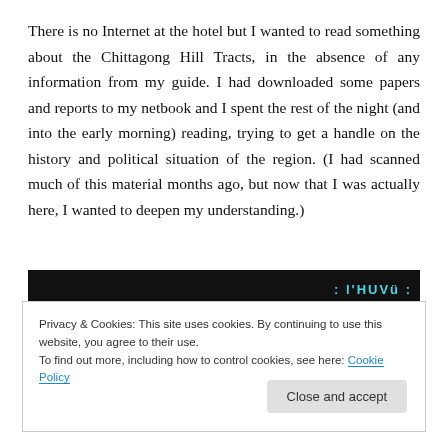There is no Internet at the hotel but I wanted to read something about the Chittagong Hill Tracts, in the absence of any information from my guide. I had downloaded some papers and reports to my netbook and I spent the rest of the night (and into the early morning) reading, trying to get a handle on the history and political situation of the region. (I had scanned much of this material months ago, but now that I was actually here, I wanted to deepen my understanding.)
[Figure (screenshot): Dark banner/navigation bar with cyan text reading 'l'HUVü' and colon decorators]
Privacy & Cookies: This site uses cookies. By continuing to use this website, you agree to their use.
To find out more, including how to control cookies, see here: Cookie Policy